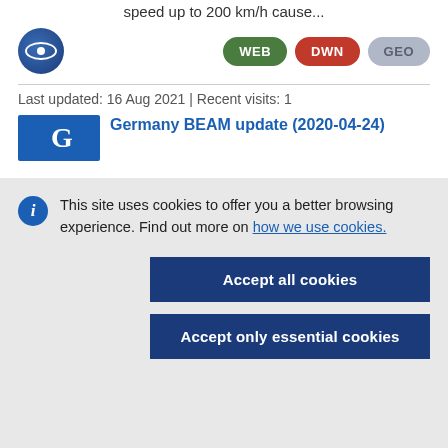speed up to 200 km/h cause...
[Figure (logo): Blue circular logo with eye icon]
[Figure (other): Buttons: WEB (green), DWN (red), GEO (grey)]
Last updated: 16 Aug 2021 | Recent visits: 1
Germany BEAM update (2020-04-24)
This site uses cookies to offer you a better browsing experience. Find out more on how we use cookies.
Accept all cookies
Accept only essential cookies